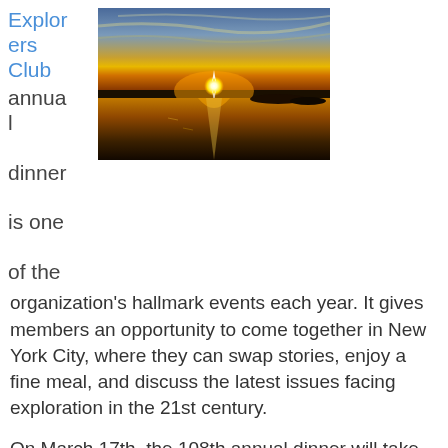Explorers Club annual dinner is one of the
[Figure (photo): Dramatic sunset over a flat water landscape with sun reflecting on the surface and silhouetted land masses]
organization's hallmark events each year. It gives members an opportunity to come together in New York City, where they can swap stories, enjoy a fine meal, and discuss the latest issues facing exploration in the 21st century.
On March 17th, the 108th annual dinner will take place at the Waldorf Astoria, where more than a